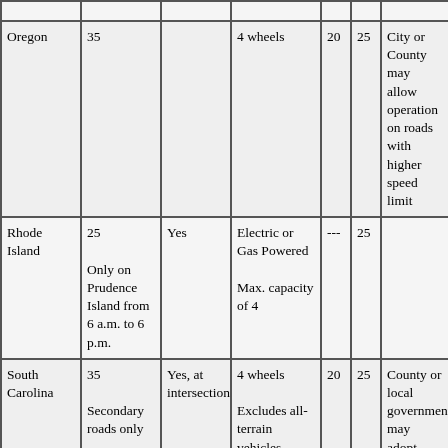| State | Speed Limit | Stop Required | Vehicle Type | Min Age | Max Speed | Notes |
| --- | --- | --- | --- | --- | --- | --- |
| Oregon | 35 |  | 4 wheels | 20 | 25 | City or County may allow operation on roads with higher speed limit |
| Rhode Island | 25

Only on Prudence Island from 6 a.m. to 6 p.m. | Yes | Electric or Gas Powered

Max. capacity of 4 | --- | 25 |  |
| South Carolina | 35

Secondary roads only | Yes, at intersection | 4 wheels

Excludes all-terrain vehicles | 20 | 25 | County or local government may adopt more stringent ordinances or prohibit in |